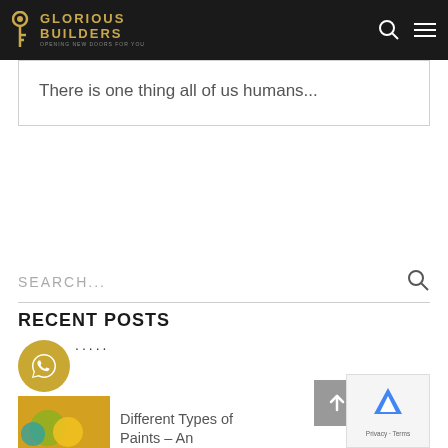GLORIOUS BUILDERS — OPENING NEW DOORS FOR YOU
There is one thing all of us humans...
SEARCH...
RECENT POSTS
Different Types of Paints – An